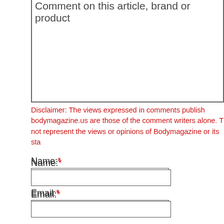[Figure (screenshot): Partial textarea input box for comment on article, brand or product, cut off at top]
Disclaimer: The views expressed in comments published on bodymagazine.us are those of the comment writers alone. They do not represent the views or opinions of Bodymagazine or its staff.
Name:*
[Figure (screenshot): Empty text input field for Name]
Email:*
[Figure (screenshot): Empty text input field for Email]
Company:*
[Figure (screenshot): Empty text input field for Company]
Comment:*
[Figure (screenshot): Empty textarea for Comment]